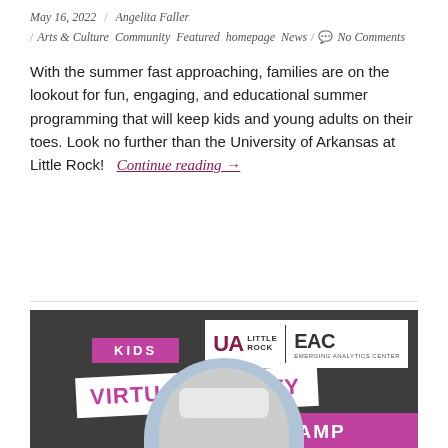May 16, 2022 / Angelita Faller
/ Arts & Culture Community Featured homepage News / No Comments
With the summer fast approaching, families are on the lookout for fun, engaging, and educational summer programming that will keep kids and young adults on their toes. Look no further than the University of Arkansas at Little Rock! Continue reading →
[Figure (photo): Promotional image for UA Little Rock Kids Virtual Reality Summer Camp. Dark background with purple/magenta banners. Top-left shows 'KIDS' in a purple banner, below that 'VIRTUAL REALITY' in white text on white diagonal background, and 'SUMMER CAMP' in a purple banner. UA Little Rock Emerging Analytics Center (EAC) logo in top-right white box. Bottom center shows a person wearing a white VR headset.]